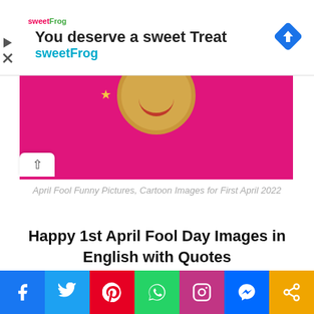[Figure (infographic): Advertisement banner for sweetFrog frozen yogurt. Shows sweetFrog logo, text 'You deserve a sweet Treat' and 'sweetFrog' in teal, with a blue diamond navigation icon on the right and play/close icons on the left.]
[Figure (photo): An image with a bright pink/magenta background. A golden circular face/emoji is partially visible at the top center, with a small yellow star to its left. A small white upward-arrow button is visible at the lower left.]
April Fool Funny Pictures, Cartoon Images for First April 2022
Happy 1st April Fool Day Images in English with Quotes
[Figure (infographic): Social media sharing bar with icons for Facebook, Twitter, Pinterest, WhatsApp, Instagram, Messenger, and Share.]